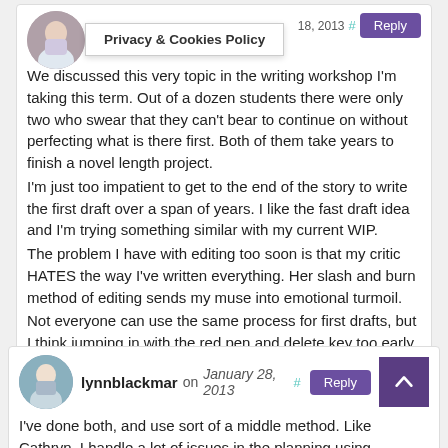[Figure (photo): Circular avatar photo of a woman in a light top, partially obscured by a Privacy & Cookies Policy popup]
Privacy & Cookies Policy
18, 2013  #  Reply
We discussed this very topic in the writing workshop I'm taking this term. Out of a dozen students there were only two who swear that they can't bear to continue on without perfecting what is there first. Both of them take years to finish a novel length project.
I'm just too impatient to get to the end of the story to write the first draft over a span of years. I like the fast draft idea and I'm trying something similar with my current WIP.
The problem I have with editing too soon is that my critic HATES the way I've written everything. Her slash and burn method of editing sends my muse into emotional turmoil.
Not everyone can use the same process for first drafts, but I think jumping in with the red pen and delete key too early could hamper your creative genius. In my world, it does.
[Figure (photo): Circular avatar photo of a person with short hair]
lynnblackmar on January 28, 2013  #  Reply
I've done both, and use sort of a middle method. Like Cathryn, I handle a lot of issues in the planning using Scrivener. I set up